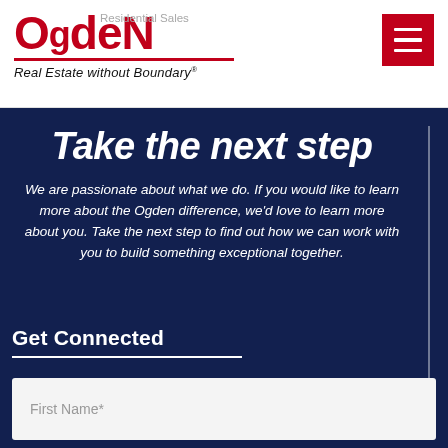[Figure (logo): Ogden Real Estate logo with red text and italic tagline 'Real Estate without Boundary®']
Residential Sales
[Figure (other): Red hamburger menu button with three white horizontal lines]
Take the next step
We are passionate about what we do. If you would like to learn more about the Ogden difference, we'd love to learn more about you. Take the next step to find out how we can work with you to build something exceptional together.
Get Connected
First Name*